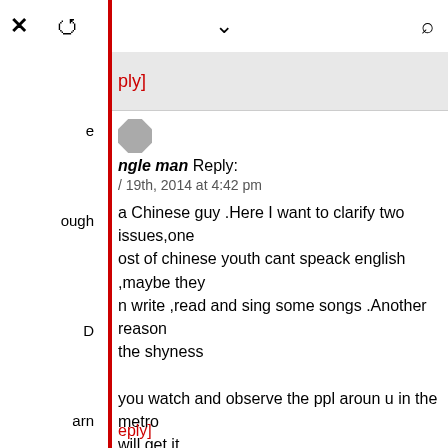× ↺ ∨ 🔍
[ply]
ngle man Reply:
/ 19th, 2014 at 4:42 pm
a Chinese guy .Here I want to clarify two issues,one ost of chinese youth cant speack english ,maybe they n write ,read and sing some songs .Another reason the shyness
you watch and observe the ppl aroun u in the metro will get it .
isically ,those guys who r dealing with foreigners r ore positive ...
[eply]